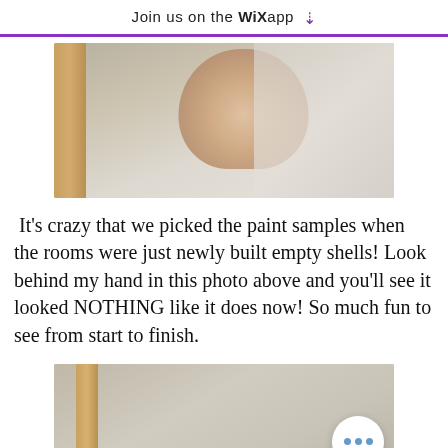Join us on the WiX app
[Figure (photo): A hand holding paint color samples against a newly built empty room wall]
It's crazy that we picked the paint samples when the rooms were just newly built empty shells! Look behind my hand in this photo above and you'll see it looked NOTHING like it does now! So much fun to see from start to finish.
[Figure (photo): A partial view of a newly built empty room with bare concrete floor and wooden framing, with a chat/more options button overlay]